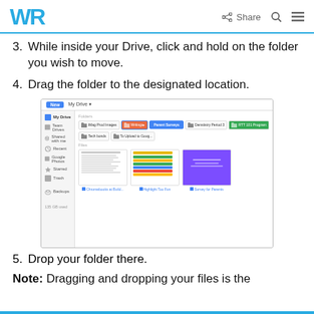WR | Share
3. While inside your Drive, click and hold on the folder you wish to move.
4. Drag the folder to the designated location.
[Figure (screenshot): Screenshot of Google Drive interface showing folders and files, with a folder being dragged to a new location.]
5. Drop your folder there.
Note: Dragging and dropping your files is the